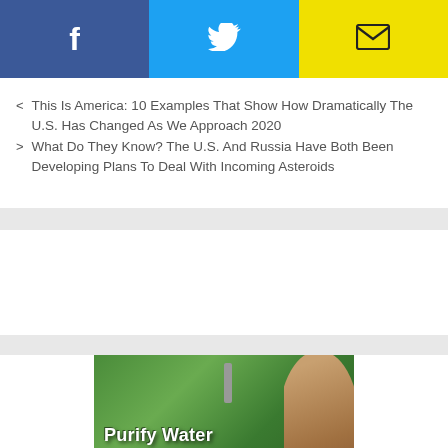[Figure (infographic): Social sharing buttons: Facebook (blue), Twitter (cyan), Email (yellow)]
< This Is America: 10 Examples That Show How Dramatically The U.S. Has Changed As We Approach 2020
> What Do They Know? The U.S. And Russia Have Both Been Developing Plans To Deal With Incoming Asteroids
[Figure (photo): Advertisement image showing a person purifying water outdoors with text 'Purify Water where you need it, when you need it']